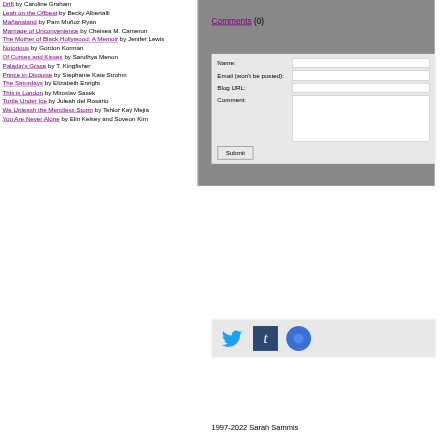Drift by Caroline Graham
Leah on the Offbeat by Becky Albertalli
Mañanaland by Pam Muñoz Ryan
Marriage of Unconvenience by Chelsea M. Cameron
The Mother of Black Hollywood: A Memoir by Jenifer Lewis
Notorious by Gordon Korman
Of Curses and Kisses by Sandhya Menon
Paladin's Grace by T. Kingfisher
Prince in Disguise by Stephanie Kate Strohm
The Saturdays by Elizabeth Enright
This is London by Miroslav Sasek
Turtle Under Ice by Juleah del Rosario
We Unleash the Merciless Storm by Tehlor Kay Mejia
You Are Never Alone by Elin Kelsey and Soveon Kim
Comments (0)
Name:
Email (won't be posted):
Blog URL:
Comment:
Submit
[Figure (logo): Twitter bird logo in blue]
[Figure (logo): Tumblr dark blue square logo with lowercase t]
[Figure (logo): Blue circle social icon]
1997-2022 Sarah Sammis